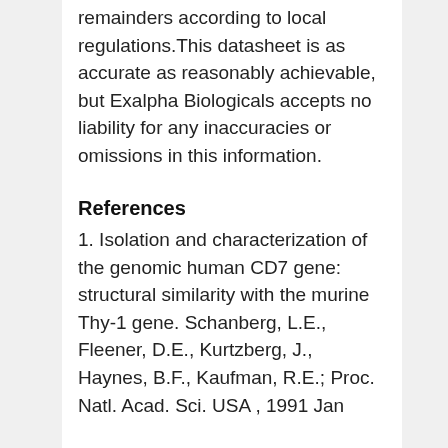remainders according to local regulations.This datasheet is as accurate as reasonably achievable, but Exalpha Biologicals accepts no liability for any inaccuracies or omissions in this information.
References
1. Isolation and characterization of the genomic human CD7 gene: structural similarity with the murine Thy-1 gene. Schanberg, L.E., Fleener, D.E., Kurtzberg, J., Haynes, B.F., Kaufman, R.E.; Proc. Natl. Acad. Sci. USA , 1991 Jan